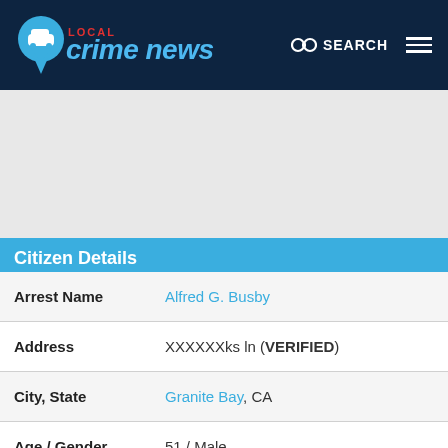LOCAL crime news — SEARCH
[Figure (other): Gray advertisement/map placeholder area]
Citizen Details
| Field | Value |
| --- | --- |
| Arrest Name | Alfred G. Busby |
| Address | XXXXXXks ln (VERIFIED) |
| City, State | Granite Bay, CA |
| Age / Gender | 51 / Male |
| Race | Not Available |